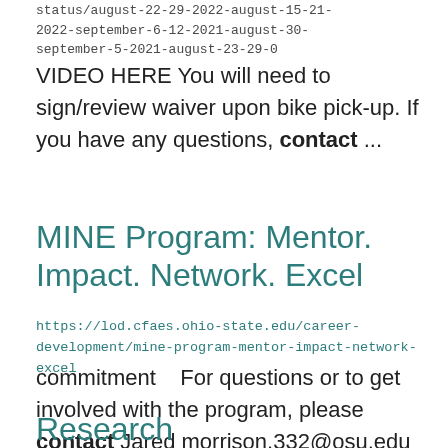status/august-22-29-2022-august-15-21-2022-september-6-12-2021-august-30-september-5-2021-august-23-29-0
VIDEO HERE You will need to sign/review waiver upon bike pick-up. If you have any questions, contact ...
MINE Program: Mentor. Impact. Network. Excel
https://lod.cfaes.ohio-state.edu/career-development/mine-program-mentor-impact-network-excel
commitment    For questions or to get involved with the program, please contact Jared morrison.332@osu.edu and ...
Research